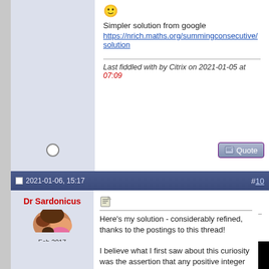Simpler solution from google
https://nrich.maths.org/summingconsecutive/solution
Last fiddled with by Citrix on 2021-01-05 at 07:09
2021-01-06, 15:17   #10
Dr Sardonicus
Feb 2017
Nowhere
5917₁₀ Posts
Here's my solution - considerably refined, thanks to the postings to this thread!

I believe what I first saw about this curiosity was the assertion that any positive integer could be expressed as a sum of two or more consecutive integers, unless it was a power of 2.

This, of course, was a great advantage in analyzing the situation, since I already knew what was true, and only needed to determine why it was true.